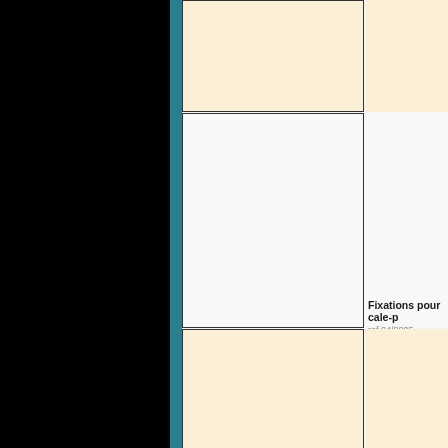[Figure (photo): Product image cell 1 - cream/warm background]
[Figure (photo): Product image cell 2 - white/light gray background, Fixations pour cale-pieds]
Fixations pour cale-p
ref.84/8805
[Figure (photo): Product image cell 3 - cream/warm background, Kit de fixation arrière]
Kit de fixation arrière
ref.84/8828
[Figure (photo): Product image cell 4 - white/light gray background (partially visible)]